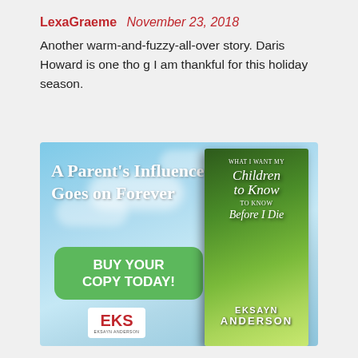LexaGraeme  November 23, 2018
Another warm-and-fuzzy-all-over story. Daris Howard is one tho g I am thankful for this holiday season.
[Figure (photo): Book advertisement for 'What I Want My Children to Know Before I Die' by Eksayn Anderson. Features a sky background with text 'A Parent's Influence Goes on Forever', a green 'BUY YOUR COPY TODAY!' button, the EKS publisher logo, and a book cover image with green foliage.]